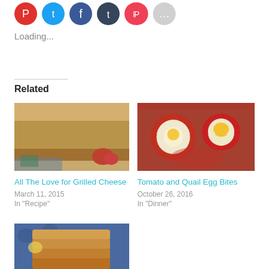[Figure (illustration): Social sharing icons: Pinterest (red), Twitter (blue), Facebook (dark blue), Tumblr (dark navy), Pocket (pink-red), More (light gray) — circular icon buttons]
Loading...
Related
[Figure (photo): Close-up photo of a grilled cheese sandwich with tomatoes on a blue and white plate]
All The Love for Grilled Cheese
March 11, 2015
In "Recipe"
[Figure (photo): Photo of tomato and quail egg bites — eggs cooked inside red bell pepper rings on a plate]
Tomato and Quail Egg Bites
October 26, 2016
In "Dinner"
[Figure (photo): Photo of stacked pancakes or toast on a blue patterned background, partially cut off at bottom]